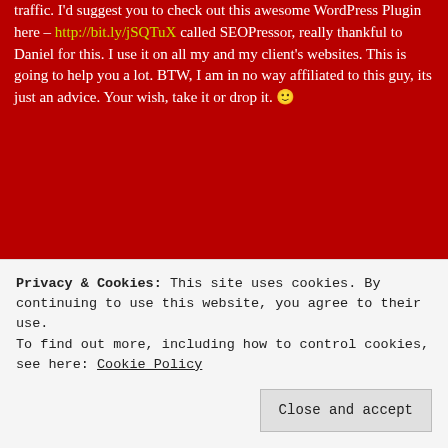traffic. I'd suggest you to check out this awesome WordPress Plugin here – http://bit.ly/jSQTuX called SEOPressor, really thankful to Daniel for this. I use it on all my and my client's websites. This is going to help you a lot. BTW, I am in no way affiliated to this guy, its just an advice. Your wish, take it or drop it. 🙂
★ Like
Loida Steigman , June 27, 2011 at 7:15 am
LOG IN TO REPLY
Thank you for the info Loida but I don't feel its necessary to pay for a plugin. Cheers! JS
Privacy & Cookies: This site uses cookies. By continuing to use this website, you agree to their use. To find out more, including how to control cookies, see here: Cookie Policy
Close and accept